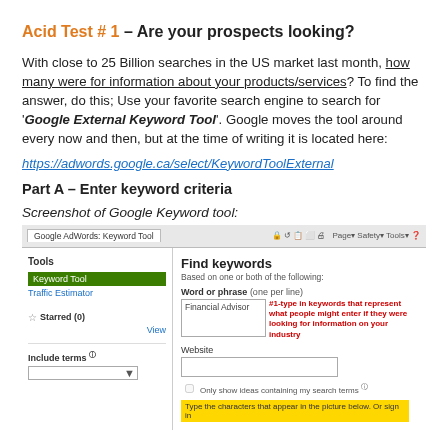Acid Test # 1 – Are your prospects looking?
With close to 25 Billion searches in the US market last month, how many were for information about your products/services? To find the answer, do this; Use your favorite search engine to search for 'Google External Keyword Tool'. Google moves the tool around every now and then, but at the time of writing it is located here:
https://adwords.google.ca/select/KeywordToolExternal
Part A – Enter keyword criteria
Screenshot of Google Keyword tool:
[Figure (screenshot): Screenshot of Google AdWords Keyword Tool browser window showing the keyword search interface with Tools menu on left, Find keywords section on right with 'Financial Advisor' text in word/phrase input box, a red callout annotation saying '#1-type in keywords that represent what people might enter if they were looking for information on your industry', Website field, checkbox for 'Only show ideas containing my search terms', and a yellow CAPTCHA bar at the bottom.]